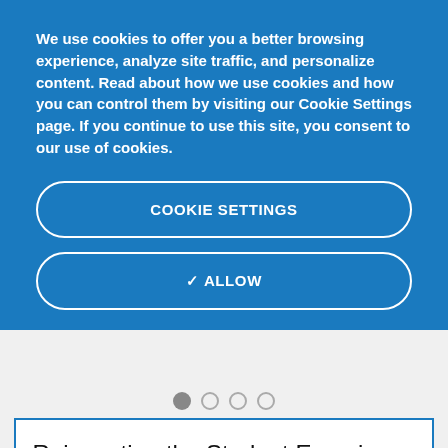We use cookies to offer you a better browsing experience, analyze site traffic, and personalize content. Read about how we use cookies and how you can control them by visiting our Cookie Settings page. If you continue to use this site, you consent to our use of cookies.
COOKIE SETTINGS
✓ ALLOW
[Figure (other): Carousel pagination dots: one filled grey dot followed by three empty circle dots]
Reinventing the Student Experience